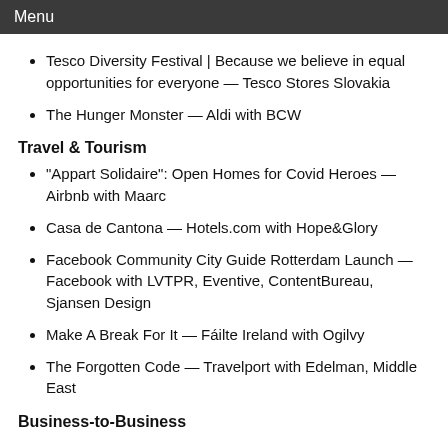Menu
Tesco Diversity Festival | Because we believe in equal opportunities for everyone — Tesco Stores Slovakia
The Hunger Monster — Aldi with BCW
Travel & Tourism
"Appart Solidaire": Open Homes for Covid Heroes — Airbnb with Maarc
Casa de Cantona — Hotels.com with Hope&Glory
Facebook Community City Guide Rotterdam Launch — Facebook with LVTPR, Eventive, ContentBureau, Sjansen Design
Make A Break For It — Fáilte Ireland with Ogilvy
The Forgotten Code — Travelport with Edelman, Middle East
Business-to-Business